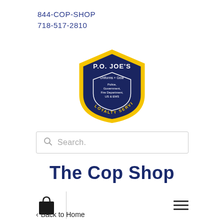844-COP-SHOP
718-517-2810
[Figure (logo): P.O. Joe's shield-shaped badge logo with gold border, navy background, reading 'P.O. JOE'S Uniforms + Gear Police, Government, Fire Department, US & EMS LOYALTY SERVICE']
Search.
The Cop Shop
[Figure (illustration): Shopping bag icon (black silhouette) with vertical divider line and hamburger menu icon (three horizontal lines)]
< Back to Home